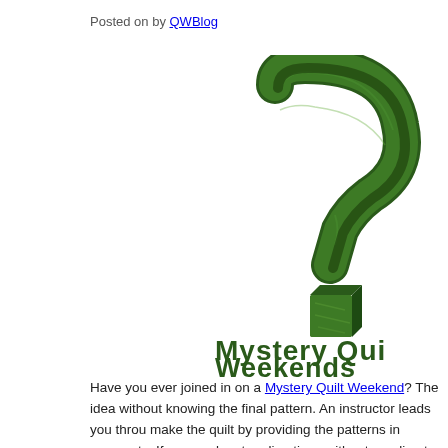Posted on by QWBlog
[Figure (illustration): 3D green marble question mark above bold dark green text reading 'Mystery Quilt Weekends', partially cropped on the right edge]
Have you ever joined in on a Mystery Quilt Weekend? The idea without knowing the final pattern. An instructor leads you through make the quilt by providing the patterns in segments. If you are by-step directions without needing to see the final outcome, a M